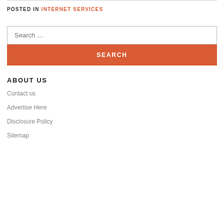POSTED IN INTERNET SERVICES
Search …
SEARCH
ABOUT US
Contact us
Advertise Here
Disclosure Policy
Sitemap